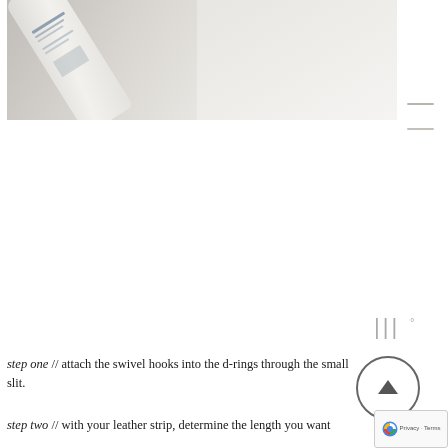[Figure (photo): Photo of a white product bottle/container tilted at an angle against a light gray/white background, showing a barcode and small text on the label.]
step one // attach the swivel hooks into the d-rings through the small slit.
step two // with your leather strip, determine the length you want